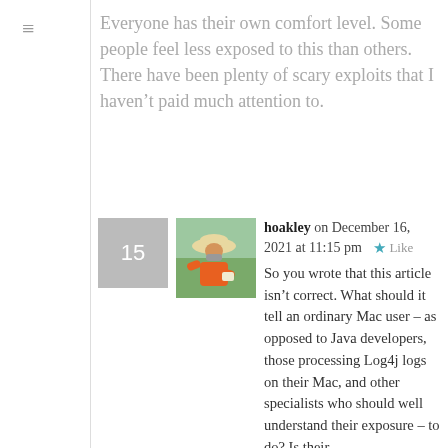Everyone has their own comfort level. Some people feel less exposed to this than others. There have been plenty of scary exploits that I haven't paid much attention to.
hoakley on December 16, 2021 at 11:15 pm
So you wrote that this article isn't correct. What should it tell an ordinary Mac user – as opposed to Java developers, those processing Log4j logs on their Mac, and other specialists who should well understand their exposure – to do? Is their